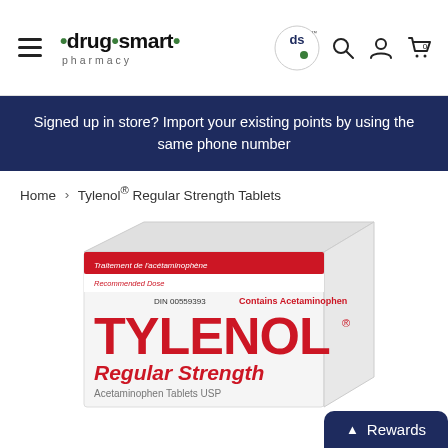drug smart pharmacy — navigation header with hamburger menu, logo, search, account, and cart icons
Signed up in store? Import your existing points by using the same phone number
Home > Tylenol® Regular Strength Tablets
[Figure (photo): Tylenol Regular Strength box with red text showing DIN 00559393, Contains Acetaminophen, TYLENOL Regular Strength, Acetaminophen Tablets USP]
Rewards